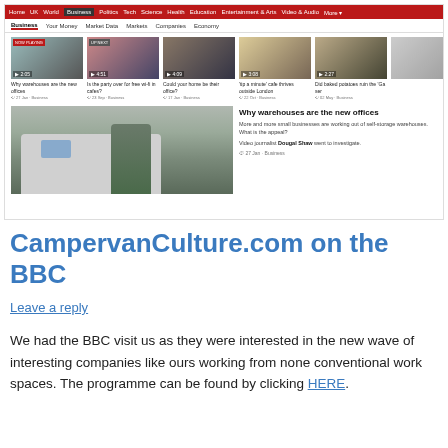[Figure (screenshot): BBC Business webpage screenshot showing video thumbnails and a featured story about warehouses as offices, with navigation bar at top]
CampervanCulture.com on the BBC
Leave a reply
We had the BBC visit us as they were interested in the new wave of interesting companies like ours working from none conventional work spaces. The programme can be found by clicking HERE.